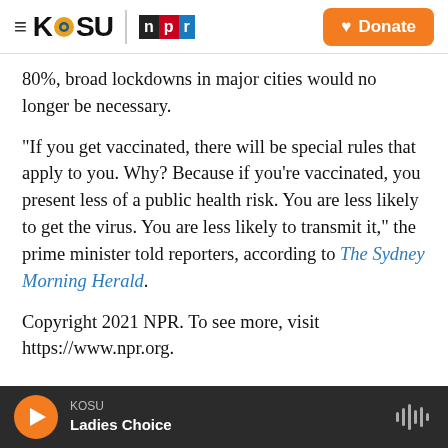KOSU | npr — Donate
80%, broad lockdowns in major cities would no longer be necessary.
"If you get vaccinated, there will be special rules that apply to you. Why? Because if you're vaccinated, you present less of a public health risk. You are less likely to get the virus. You are less likely to transmit it," the prime minister told reporters, according to The Sydney Morning Herald.
Copyright 2021 NPR. To see more, visit https://www.npr.org.
KOSU — Ladies Choice